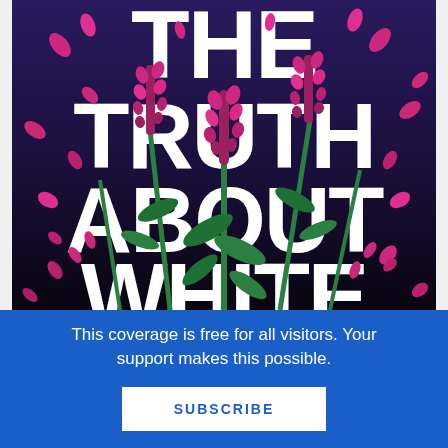[Figure (illustration): Book cover of 'The Truth About White' (partial, bottom cut off) featuring large white bold text reading 'THE TRUTH ABOUT WHITE' on a dark purple/navy background with illustrated pink/magenta flowers and green stems scattered across the cover.]
This coverage is free for all visitors. Your support makes this possible.
SUBSCRIBE